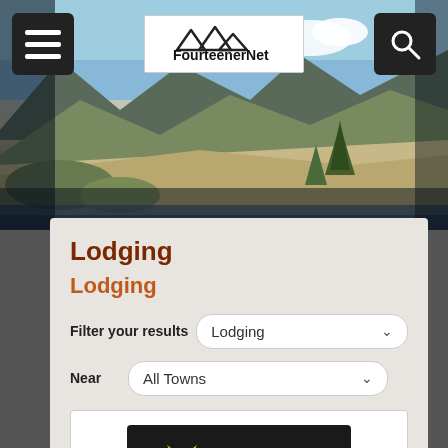[Figure (photo): Mountain landscape hero banner with FourteenerNet logo, hamburger menu button on the left, and search button on the right.]
Lodging
Lodging
Filter your results  Lodging
Near  All Towns
[Figure (logo): Aspen Leaf Property Rentals logo — dark background with a yellow leaf/owl and stylized text.]
Aspen Leaf Property Rentals